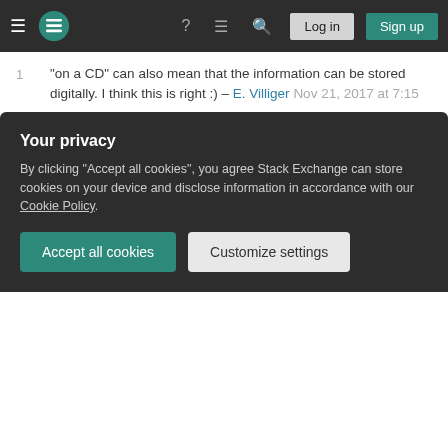Stack Exchange navigation bar with hamburger, logo, help, chat, search, Log in, Sign up
1  "on a CD" can also mean that the information can be stored digitally. I think this is right :) – E. Villiger Nov 21, 2017 at 7:15
2  also looks like this is the only answer which also somehow matches the given hint… – Display Name Nov 21, 2017 at 7:19
Add a comment
I suppose the intended answer is Xenocacia's. But the description applies equally well to
Your privacy
By clicking "Accept all cookies", you agree Stack Exchange can store cookies on your device and disclose information in accordance with our Cookie Policy.
Accept all cookies
Customize settings